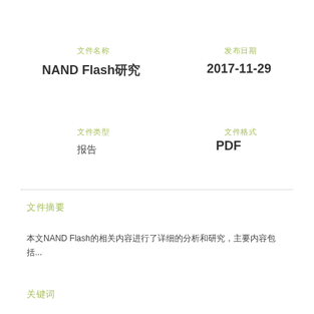文件名称
发布日期
NAND Flash研究
2017-11-29
文件类型
文件格式
报告
PDF
摘要
本文NAND Flash的相关内容进行了详细的分析和研究，主要内容包括...
关键词